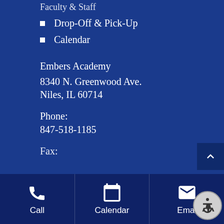Faculty & Staff
Drop-Off & Pick-Up
Calendar
Embers Academy
8340 N. Greenwood Ave.
Niles, IL 60714
Phone:
847-518-1185
Fax:
[Figure (screenshot): Bottom navigation bar with Call (phone icon), Calendar (calendar icon), and Email (envelope icon) buttons, plus an accessibility widget button]
[Figure (other): Back to top arrow button in dark blue at right side]